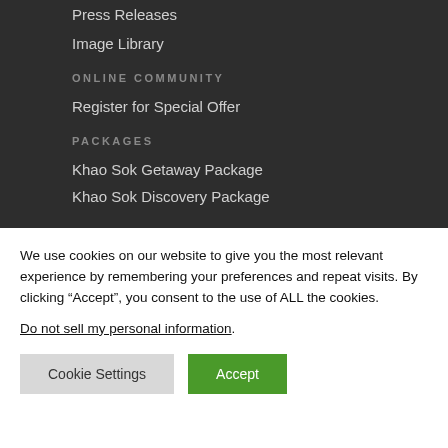Press Releases
Image Library
ONLINE COMMUNITY
Register for Special Offer
PACKAGES
Khao Sok Getaway Package
Khao Sok Discovery Package
We use cookies on our website to give you the most relevant experience by remembering your preferences and repeat visits. By clicking “Accept”, you consent to the use of ALL the cookies.
Do not sell my personal information.
Cookie Settings
Accept